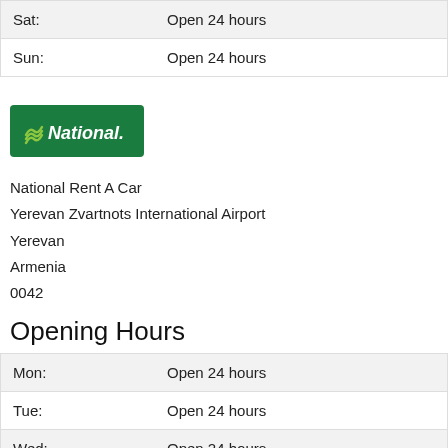| Day | Hours |
| --- | --- |
| Sat: | Open 24 hours |
| Sun: | Open 24 hours |
[Figure (logo): National Car Rental green logo with wave symbol and italic text 'National.']
National Rent A Car
Yerevan Zvartnots International Airport
Yerevan
Armenia
0042
Opening Hours
| Day | Hours |
| --- | --- |
| Mon: | Open 24 hours |
| Tue: | Open 24 hours |
| Wed: | Open 24 hours |
| Thu: | Open 24 hours |